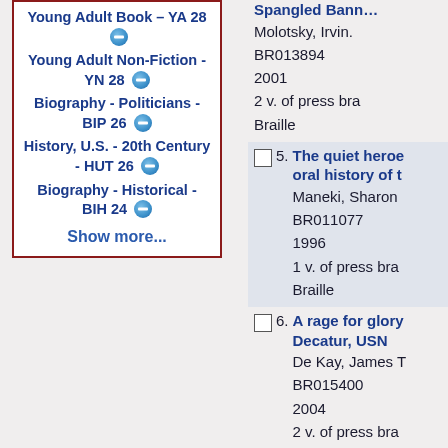Young Adult Book - YA 28 [minus]
Young Adult Non-Fiction - YN 28 [minus]
Biography - Politicians - BIP 26 [minus]
History, U.S. - 20th Century - HUT 26 [minus]
Biography - Historical - BIH 24 [minus]
Show more...
Spangled Bann...
Molotsky, Irvin.
BR013894
2001
2 v. of press bra
Braille
5. The quiet heroe oral history of t
Maneki, Sharon
BR011077
1996
1 v. of press bra
Braille
6. A rage for glory Decatur, USN
De Kay, James T
BR015400
2004
2 v. of press bra
Braille